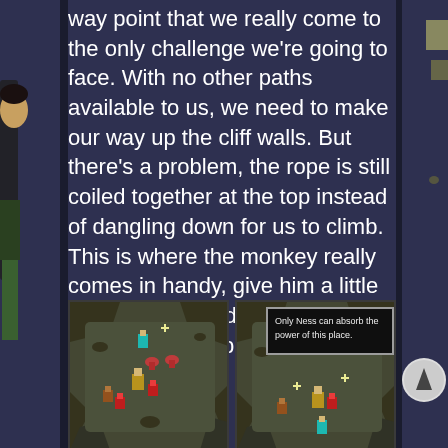way point that we really come to the only challenge we're going to face. With no other paths available to us, we need to make our way up the cliff walls. But there's a problem, the rope is still coiled together at the top instead of dangling down for us to climb. This is where the monkey really comes in handy, give him a little piece of gum and he'll float right up to get that rope for us.
[Figure (screenshot): Two side-by-side retro pixel-art game screenshots. Left screenshot shows a top-down RPG map area with rocky terrain, trees, and several small character sprites including a teal one and red enemies. Right screenshot shows a similar scene with a dialog box reading 'Only Ness can absorb the power of this place.']